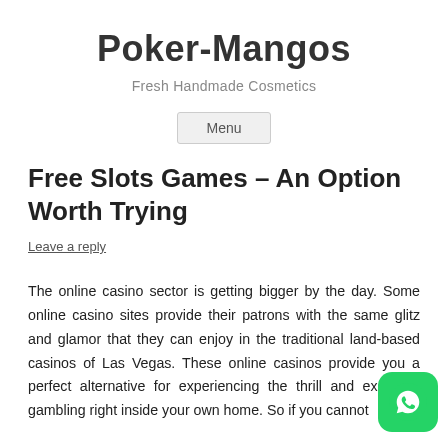Poker-Mangos
Fresh Handmade Cosmetics
Menu
Free Slots Games – An Option Worth Trying
Leave a reply
The online casino sector is getting bigger by the day. Some online casino sites provide their patrons with the same glitz and glamor that they can enjoy in the traditional land-based casinos of Las Vegas. These online casinos provide you a perfect alternative for experiencing the thrill and excite of gambling right inside your own home. So if you cannot